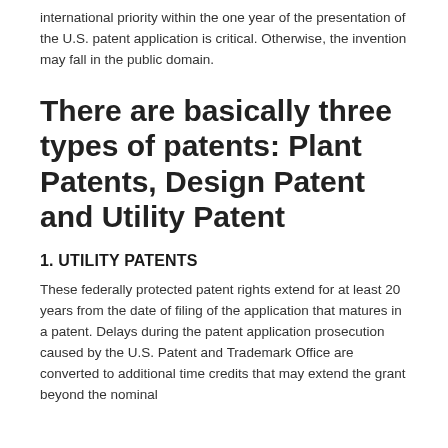international priority within the one year of the presentation of the U.S. patent application is critical. Otherwise, the invention may fall in the public domain.
There are basically three types of patents: Plant Patents, Design Patent and Utility Patent
1. UTILITY PATENTS
These federally protected patent rights extend for at least 20 years from the date of filing of the application that matures in a patent. Delays during the patent application prosecution caused by the U.S. Patent and Trademark Office are converted to additional time credits that may extend the grant beyond the nominal